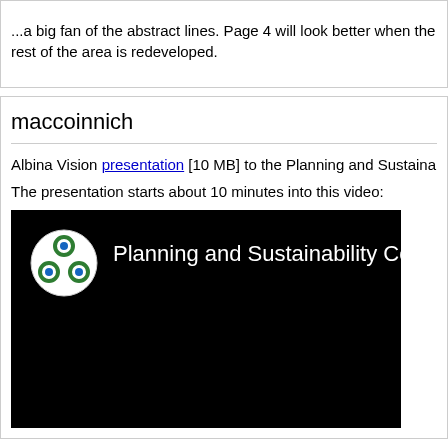...a big fan of the abstract lines. Page 4 will look better when the rest of the area is redeveloped.
maccoinnich
Albina Vision presentation [10 MB] to the Planning and Sustainability Com...
The presentation starts about 10 minutes into this video:
[Figure (screenshot): Video thumbnail showing Planning and Sustainability Commission 05-25 with green logo on black background]